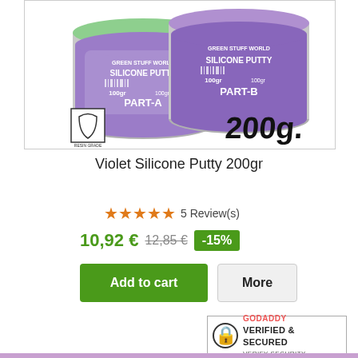[Figure (photo): Two tins of Green Stuff World Silicone Putty — Part A (left, light green lid) and Part B (right, violet/purple lid), each 100gr, with a resin-grade icon in the lower left and '200g.' text overlay on the right.]
Violet Silicone Putty 200gr
★★★★★ 5 Review(s)
10,92 € 12,85 € -15%
Add to cart   More
In Stock
[Figure (logo): GoDaddy Verified & Secured badge with lock icon]